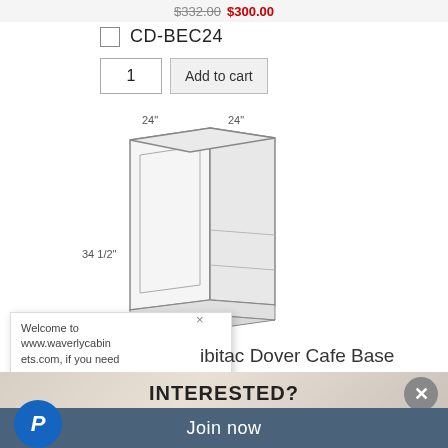$332.00 $300.00
CD-BEC24
1
Add to cart
[Figure (engineering-diagram): Cabinet engineering diagram showing a corner base cabinet with dimensions: 24" width on two sides and 34 1/2" height]
Welcome to www.waverlycabinets.com, if you need
ibitac Dover Cafe Base
INTERESTED?
Join now